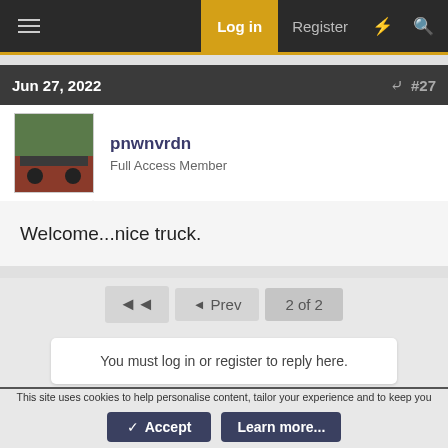Log in  Register
Jun 27, 2022  #27
pnwnvrdn
Full Access Member
Welcome...nice truck.
◄◄  ◄ Prev  2 of 2
You must log in or register to reply here.
This site uses cookies to help personalise content, tailor your experience and to keep you logged in if you register.
By continuing to use this site, you are consenting to our use of cookies.
✓ Accept  Learn more...